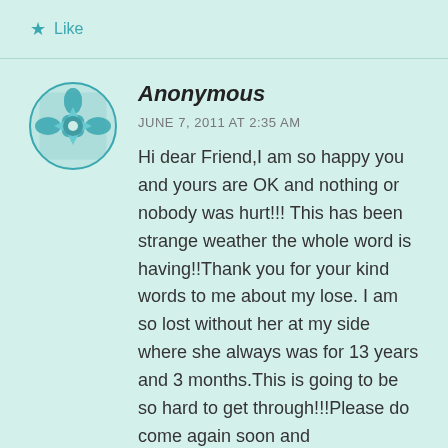Like
[Figure (illustration): Decorative geometric mandala/flower avatar icon in teal color]
Anonymous
JUNE 7, 2011 AT 2:35 AM
Hi dear Friend,I am so happy you and yours are OK and nothing or nobody was hurt!!! This has been strange weather the whole word is having!!Thank you for your kind words to me about my lose. I am so lost without her at my side where she always was for 13 years and 3 months.This is going to be so hard to get through!!!Please do come again soon and